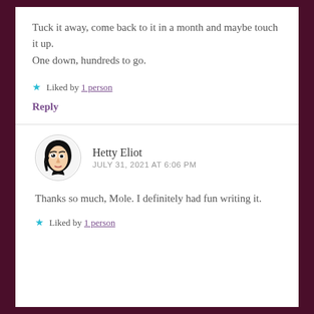Tuck it away, come back to it in a month and maybe touch it up.
One down, hundreds to go.
★ Liked by 1 person
Reply
Hetty Eliot
JULY 31, 2021 AT 6:06 PM
Thanks so much, Mole. I definitely had fun writing it.
★ Liked by 1 person